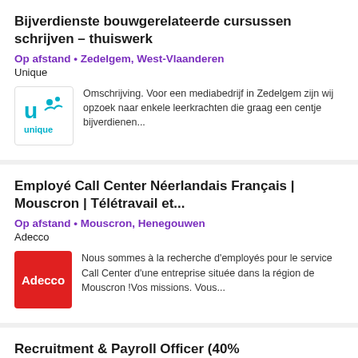Bijverdienste bouwgerelateerde cursussen schrijven – thuiswerk
Op afstand • Zedelgem, West-Vlaanderen
Unique
Omschrijving. Voor een mediabedrijf in Zedelgem zijn wij opzoek naar enkele leerkrachten die graag een centje bijverdienen...
Employé Call Center Néerlandais Français | Mouscron | Télétravail et...
Op afstand • Mouscron, Henegouwen
Adecco
Nous sommes à la recherche d'employés pour le service Call Center d'une entreprise située dans la région de Mouscron !Vos missions. Vous...
Recruitment & Payroll Officer (40%